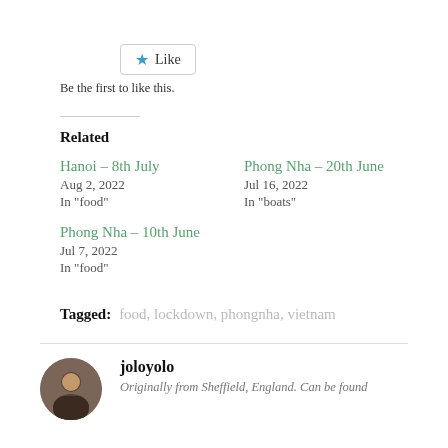[Figure (other): Like button with star icon]
Be the first to like this.
Related
Hanoi – 8th July
Aug 2, 2022
In "food"
Phong Nha – 20th June
Jul 16, 2022
In "boats"
Phong Nha – 10th June
Jul 7, 2022
In "food"
Tagged: food, lockdown, phongnha, vietnam
joloyolo
Originally from Sheffield, England. Can be found